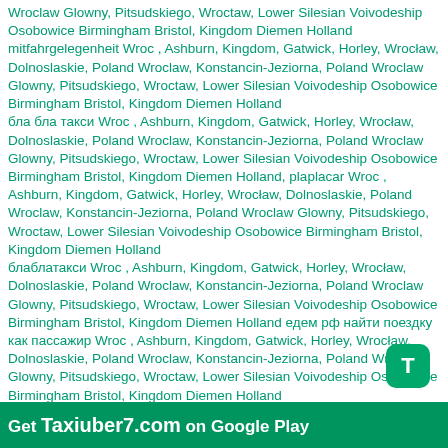Wroclaw Glowny, Pitsudskiego, Wroctaw, Lower Silesian Voivodeship Osobowice Birmingham Bristol, Kingdom Diemen Holland
mitfahrgelegenheit Wroc , Ashburn, Kingdom, Gatwick, Horley, Wrocław, Dolnoslaskie, Poland Wroclaw, Konstancin-Jeziorna, Poland Wroclaw Glowny, Pitsudskiego, Wroctaw, Lower Silesian Voivodeship Osobowice Birmingham Bristol, Kingdom Diemen Holland
бла бла такси Wroc , Ashburn, Kingdom, Gatwick, Horley, Wrocław, Dolnoslaskie, Poland Wroclaw, Konstancin-Jeziorna, Poland Wroclaw Glowny, Pitsudskiego, Wroctaw, Lower Silesian Voivodeship Osobowice Birmingham Bristol, Kingdom Diemen Holland, plaplacar Wroc , Ashburn, Kingdom, Gatwick, Horley, Wrocław, Dolnoslaskie, Poland Wroclaw, Konstancin-Jeziorna, Poland Wroclaw Glowny, Pitsudskiego, Wroctaw, Lower Silesian Voivodeship Osobowice Birmingham Bristol, Kingdom Diemen Holland
блаблатакси Wroc , Ashburn, Kingdom, Gatwick, Horley, Wrocław, Dolnoslaskie, Poland Wroclaw, Konstancin-Jeziorna, Poland Wroclaw Glowny, Pitsudskiego, Wroctaw, Lower Silesian Voivodeship Osobowice Birmingham Bristol, Kingdom Diemen Holland едем рф найти поездку как пассажир Wroc , Ashburn, Kingdom, Gatwick, Horley, Wrocław, Dolnoslaskie, Poland Wroclaw, Konstancin-Jeziorna, Poland Wroclaw Glowny, Pitsudskiego, Wroctaw, Lower Silesian Voivodeship Osobowice Birmingham Bristol, Kingdom Diemen Holland
Get Taxiuber7.com on Google Play